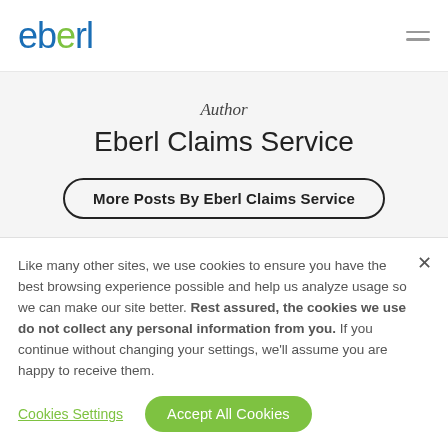eberl
Author
Eberl Claims Service
More Posts By Eberl Claims Service
Like many other sites, we use cookies to ensure you have the best browsing experience possible and help us analyze usage so we can make our site better. Rest assured, the cookies we use do not collect any personal information from you. If you continue without changing your settings, we'll assume you are happy to receive them.
Cookies Settings
Accept All Cookies